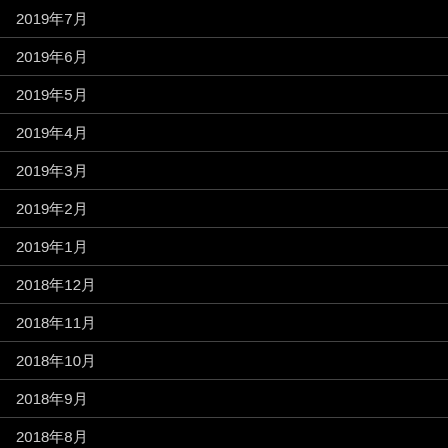2019年7月
2019年6月
2019年5月
2019年4月
2019年3月
2019年2月
2019年1月
2018年12月
2018年11月
2018年10月
2018年9月
2018年8月
2018年7月